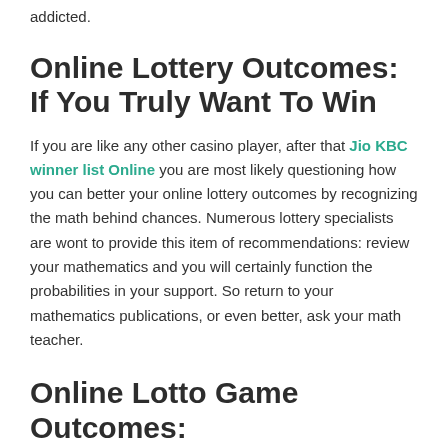addicted.
Online Lottery Outcomes: If You Truly Want To Win
If you are like any other casino player, after that Jio KBC winner list Online you are most likely questioning how you can better your online lottery outcomes by recognizing the math behind chances. Numerous lottery specialists are wont to provide this item of recommendations: review your mathematics and you will certainly function the probabilities in your support. So return to your mathematics publications, or even better, ask your math teacher.
Online Lotto Game Outcomes: Exactly How To Increase Your